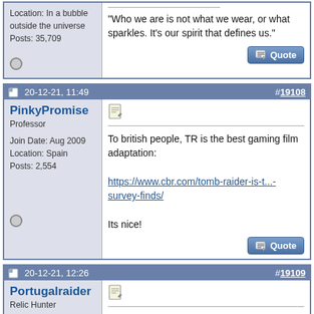Location: In a bubble outside the universe
Posts: 35,709
"Who we are is not what we wear, or what sparkles. It's our spirit that defines us."
20-12-21, 11:49   #19108
PinkyPromise
Professor
Join Date: Aug 2009
Location: Spain
Posts: 2,554
To british people, TR is the best gaming film adaptation:
https://www.cbr.com/tomb-raider-is-t...-survey-finds/
Its nice!
20-12-21, 12:26   #19109
Portugalraider
Relic Hunter
Just saw that. Not that are that it is a very hard list to top, but then again, I do think we are finally starting to get some quality videogame